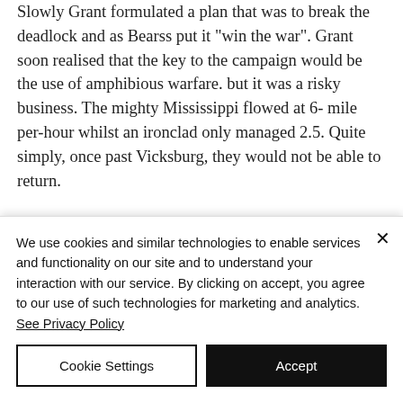Slowly Grant formulated a plan that was to break the deadlock and as Bearss put it "win the war". Grant soon realised that the key to the campaign would be the use of amphibious warfare. but it was a risky business. The mighty Mississippi flowed at 6- mile per-hour whilst an ironclad only managed 2.5. Quite simply, once past Vicksburg, they would not be able to return.
Grant realised that he had to cross the river, but how? He mulled over the options - 1) Send the army back to Memphis and...
We use cookies and similar technologies to enable services and functionality on our site and to understand your interaction with our service. By clicking on accept, you agree to our use of such technologies for marketing and analytics. See Privacy Policy